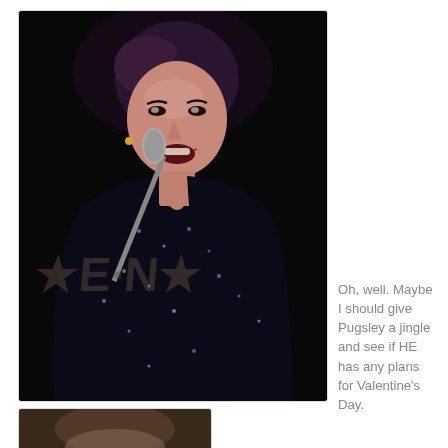[Figure (photo): A woman in a black sequined outfit singing into a microphone on stage, with a watermark overlay reading WENN]
Oh, well. Maybe I should give Pugsley a jingle and see if HE has any plans for Valentine's Day.
[Figure (photo): Partial view of a second photo, showing a dark brownish image, partially cropped at page bottom]